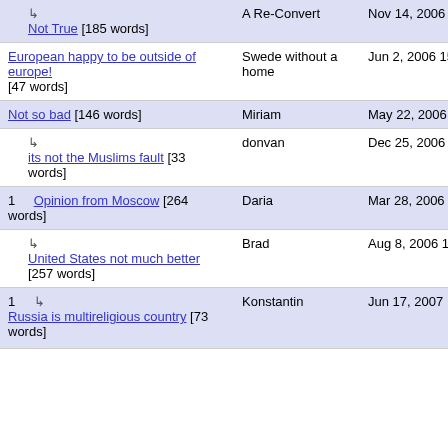↳ Not True [185 words] | A Re-Convert | Nov 14, 2006 15:52
European happy to be outside of europe! [47 words] | Swede without a home | Jun 2, 2006 15:26
Not so bad [146 words] | Miriam | May 22, 2006 00:53
↳ its not the Muslims fault [33 words] | donvan | Dec 25, 2006 07:35
1 Opinion from Moscow [264 words] | Daria | Mar 28, 2006 16:26
↳ United States not much better [257 words] | Brad | Aug 8, 2006 13:39
1 ↳ Russia is multireligious country [73 words] | Konstantin | Jun 17, 2007